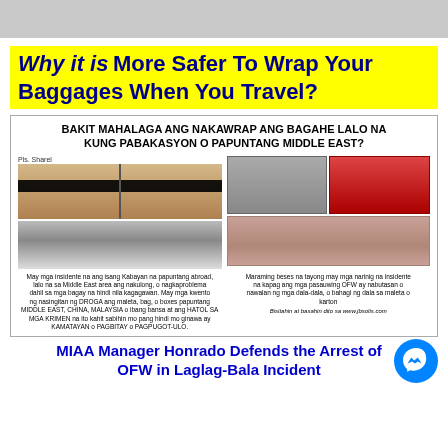[Figure (photo): Gray image bar at top of page]
Why it is More Safer To Wrap Your Baggages When You Travel?
[Figure (infographic): Article clipping with headline in Filipino: BAKIT MAHALAGA ANG NAKAWRAP ANG BAGAHE LALO NA KUNG PABAKASYON O PAPUNTANG MIDDLE EAST? Shows two women with black bars over eyes, open luggage, gray and red suitcases, and wrapped luggage packages. Captions in Filipino about drug planting incidents and missing belongings.]
MIAA Manager Honrado Defends the Arrest of OFW in Laglag-Bala Incident